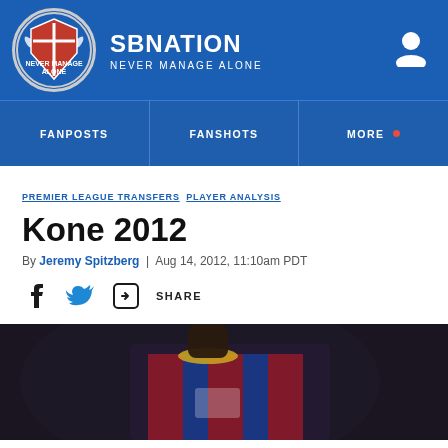SBNATION — NEVER MANAGE ALONE
FANPOSTS | FANSHOTS | MORE
PREMIER LEAGUE TRANSFERS  PLAYER ANALYSIS
Kone 2012
By Jeremy Spitzberg | Aug 14, 2012, 11:10am PDT
SHARE
[Figure (photo): Football player wearing a red and blue striped jersey with yellow collar detail, Crystal Palace style kit, dark background, lower portion of face visible]